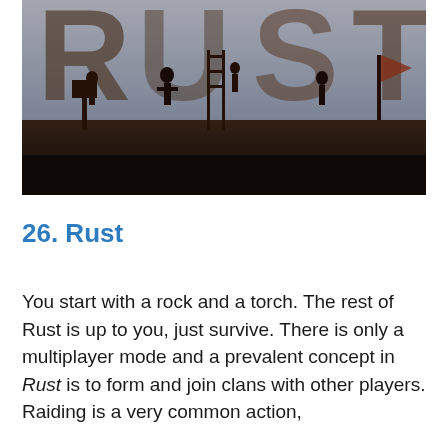[Figure (photo): Dark atmospheric game screenshot showing silhouetted figures against a stormy sky with large text letters visible in the background, appears to be Rust game art]
26. Rust
You start with a rock and a torch. The rest of Rust is up to you, just survive. There is only a multiplayer mode and a prevalent concept in Rust is to form and join clans with other players. Raiding is a very common action,